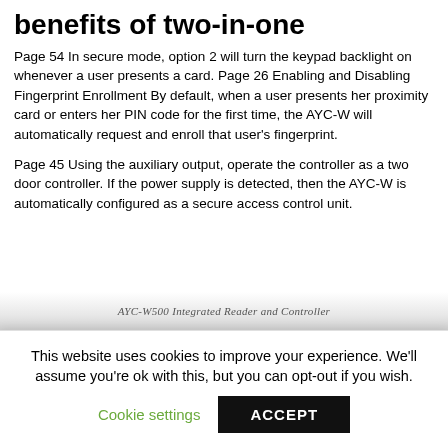benefits of two-in-one
Page 54 In secure mode, option 2 will turn the keypad backlight on whenever a user presents a card. Page 26 Enabling and Disabling Fingerprint Enrollment By default, when a user presents her proximity card or enters her PIN code for the first time, the AYC-W will automatically request and enroll that user's fingerprint.
Page 45 Using the auxiliary output, operate the controller as a two door controller. If the power supply is detected, then the AYC-W is automatically configured as a secure access control unit.
AYC-W500 Integrated Reader and Controller
This website uses cookies to improve your experience. We'll assume you're ok with this, but you can opt-out if you wish.
Cookie settings   ACCEPT